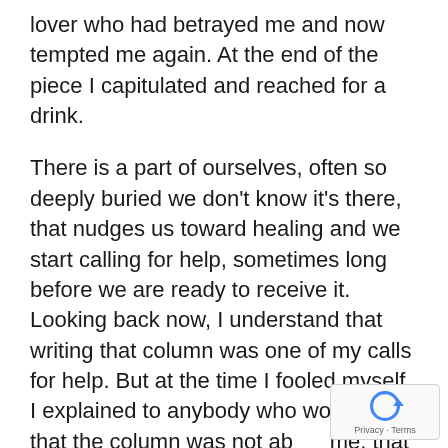lover who had betrayed me and now tempted me again. At the end of the piece I capitulated and reached for a drink.
There is a part of ourselves, often so deeply buried we don't know it's there, that nudges us toward healing and we start calling for help, sometimes long before we are ready to receive it. Looking back now, I understand that writing that column was one of my calls for help. But at the time I fooled myself. I explained to anybody who would listen that the column was not ab me, that I had turned myself into a character in order to render an artistic
[Figure (other): reCAPTCHA widget overlay with circular arrow icon and 'Privacy · Terms' text]